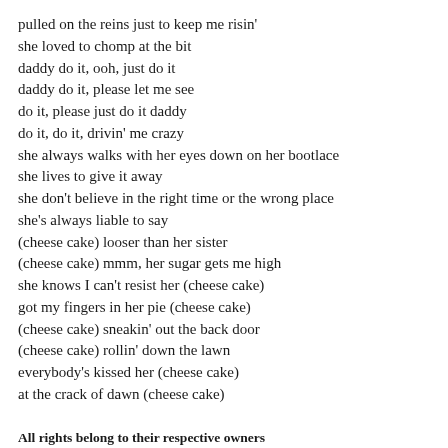pulled on the reins just to keep me risin'
she loved to chomp at the bit
daddy do it, ooh, just do it
daddy do it, please let me see
do it, please just do it daddy
do it, do it, drivin' me crazy
she always walks with her eyes down on her bootlace
she lives to give it away
she don't believe in the right time or the wrong place
she's always liable to say
(cheese cake) looser than her sister
(cheese cake) mmm, her sugar gets me high
she knows I can't resist her (cheese cake)
got my fingers in her pie (cheese cake)
(cheese cake) sneakin' out the back door
(cheese cake) rollin' down the lawn
everybody's kissed her (cheese cake)
at the crack of dawn (cheese cake)
All rights belong to their respective owners
Lyrics used as fair use. If you are the owner of the rights belonging to one of the shown lyrics, please let me know so I can add it to the lyric, and/or I can put up a link that points to your website. If you do not want the lyric to be visible, please let me know too, so I can remove it